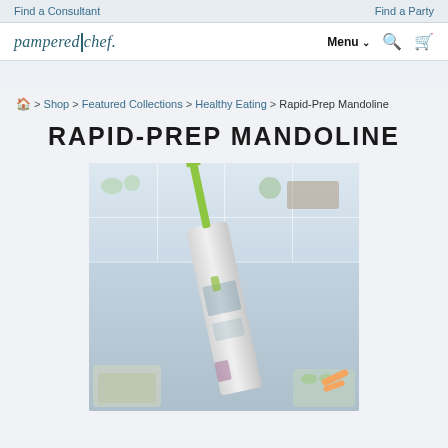Find a Consultant | Find a Party
pampered chef. Menu  Search  Cart
Home > Shop > Featured Collections > Healthy Eating > Rapid-Prep Mandoline
RAPID-PREP MANDOLINE
[Figure (photo): Photo of the Rapid-Prep Mandoline kitchen tool standing upright at an angle on a white kitchen counter, with a bright green handle, white body, and various sliced vegetables and bowls in the background.]